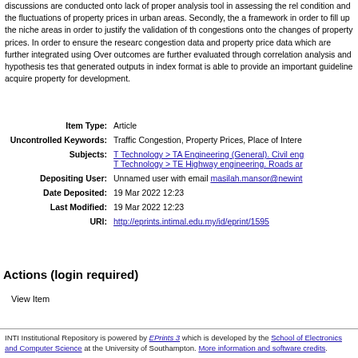discussions are conducted onto lack of proper analysis tool in assessing the relationship condition and the fluctuations of property prices in urban areas. Secondly, the a framework in order to fill up the niche areas in order to justify the validation of the congestions onto the changes of property prices. In order to ensure the research, congestion data and property price data which are further integrated using Overall outcomes are further evaluated through correlation analysis and hypothesis testing that generated outputs in index format is able to provide an important guideline to acquire property for development.
| Field | Value |
| --- | --- |
| Item Type: | Article |
| Uncontrolled Keywords: | Traffic Congestion, Property Prices, Place of Interest... |
| Subjects: | T Technology > TA Engineering (General). Civil eng...
T Technology > TE Highway engineering. Roads ar... |
| Depositing User: | Unnamed user with email masilah.mansor@newint... |
| Date Deposited: | 19 Mar 2022 12:23 |
| Last Modified: | 19 Mar 2022 12:23 |
| URI: | http://eprints.intimal.edu.my/id/eprint/1595 |
Actions (login required)
View Item
INTI Institutional Repository is powered by EPrints 3 which is developed by the School of Electronics and Computer Science at the University of Southampton. More information and software credits.